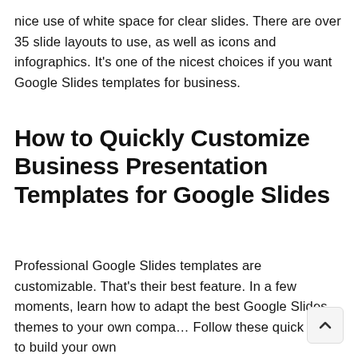nice use of white space for clear slides. There are over 35 slide layouts to use, as well as icons and infographics. It's one of the nicest choices if you want Google Slides templates for business.
How to Quickly Customize Business Presentation Templates for Google Slides
Professional Google Slides templates are customizable. That's their best feature. In a few moments, learn how to adapt the best Google Slides themes to your own compa… Follow these quick steps to build your own